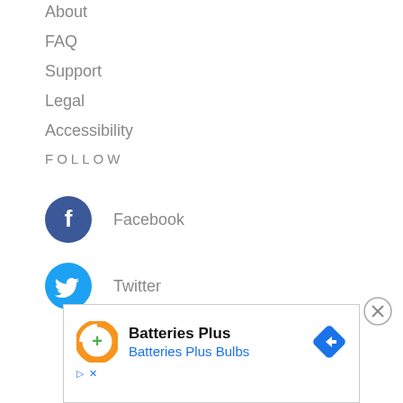About
FAQ
Support
Legal
Accessibility
FOLLOW
[Figure (illustration): Facebook circular icon (dark blue circle with white 'f' letter) with label 'Facebook']
[Figure (illustration): Twitter circular icon (light blue circle with white bird) with label 'Twitter']
[Figure (illustration): Close button circle with X]
[Figure (illustration): Advertisement box for Batteries Plus / Batteries Plus Bulbs with logo and arrow icon]